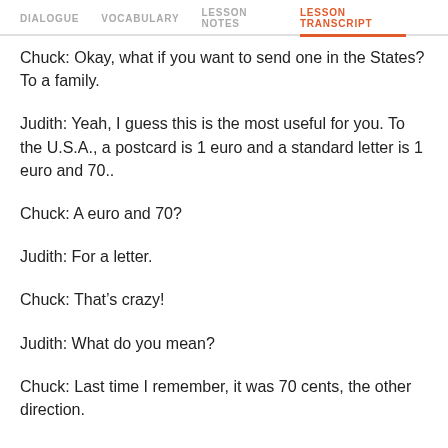DIALOGUE  VOCABULARY  LESSON NOTES  LESSON TRANSCRIPT
Chuck: Okay, what if you want to send one in the States? To a family.
Judith: Yeah, I guess this is the most useful for you. To the U.S.A., a postcard is 1 euro and a standard letter is 1 euro and 70..
Chuck: A euro and 70?
Judith: For a letter.
Chuck: That’s crazy!
Judith: What do you mean?
Chuck: Last time I remember, it was 70 cents, the other direction.